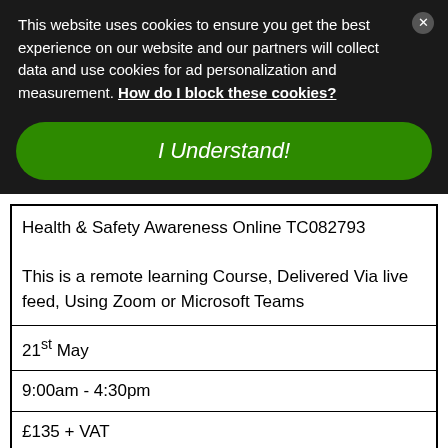This website uses cookies to ensure you get the best experience on our website and our partners will collect data and use cookies for ad personalization and measurement. How do I block these cookies?
I Understand!
| Health & Safety Awareness Online TC082793
This is a remote learning Course, Delivered Via live feed, Using Zoom or Microsoft Teams |
| 21st May |
| 9:00am - 4:30pm |
| £135 + VAT |
| 1   Add to basket »
Places Available |